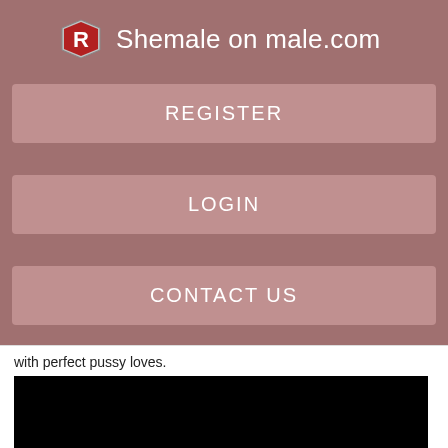Shemale on male.com
REGISTER
LOGIN
CONTACT US
with perfect pussy loves.
[Figure (photo): Black image/video placeholder]